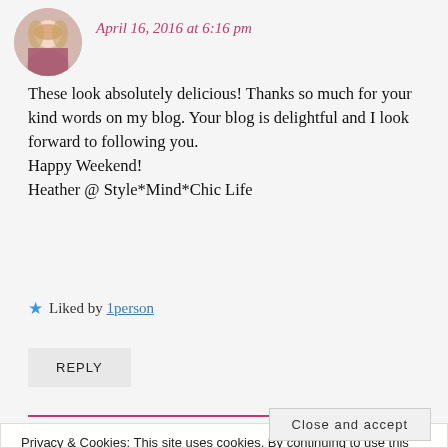April 16, 2016 at 6:16 pm
These look absolutely delicious! Thanks so much for your kind words on my blog. Your blog is delightful and I look forward to following you.
Happy Weekend!
Heather @ Style*Mind*Chic Life
Liked by 1person
REPLY
Privacy & Cookies: This site uses cookies. By continuing to use this website, you agree to their use.
To find out more, including how to control cookies, see here: Cookie Policy
Close and accept
Good job. Love the chocolate and Have a great week...